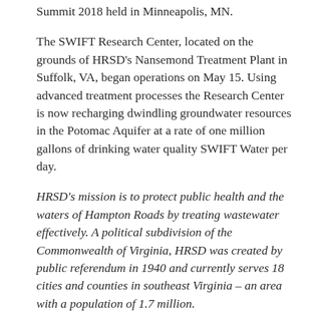Summit 2018 held in Minneapolis, MN.
The SWIFT Research Center, located on the grounds of HRSD's Nansemond Treatment Plant in Suffolk, VA, began operations on May 15. Using advanced treatment processes the Research Center is now recharging dwindling groundwater resources in the Potomac Aquifer at a rate of one million gallons of drinking water quality SWIFT Water per day.
HRSD's mission is to protect public health and the waters of Hampton Roads by treating wastewater effectively. A political subdivision of the Commonwealth of Virginia, HRSD was created by public referendum in 1940 and currently serves 18 cities and counties in southeast Virginia – an area with a population of 1.7 million.
HRSD Vision: Future Generations will inherit clean waterways and be able to keep them clean.